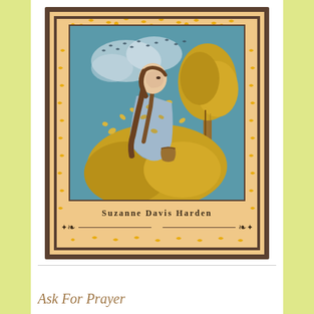[Figure (illustration): Book cover illustration: a young woman in a light blue dress with long brown hair, surrounded by golden autumn leaves and foliage, looking upward at birds in a teal sky, with a golden tree to her right. The cover has a warm peach/sand background with a decorative border featuring golden birds and leaves. Author name 'Suzanne Davis Harden' appears below the illustration with decorative flourishes.]
Ask For Prayer